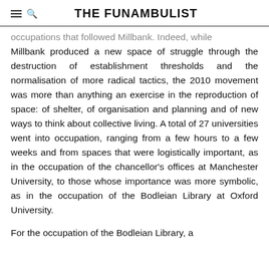THE FUNAMBULIST
occupations that followed Millbank. Indeed, while Millbank produced a new space of struggle through the destruction of establishment thresholds and the normalisation of more radical tactics, the 2010 movement was more than anything an exercise in the reproduction of space: of shelter, of organisation and planning and of new ways to think about collective living. A total of 27 universities went into occupation, ranging from a few hours to a few weeks and from spaces that were logistically important, as in the occupation of the chancellor’s offices at Manchester University, to those whose importance was more symbolic, as in the occupation of the Bodleian Library at Oxford University.
For the occupation of the Bodleian Library, a